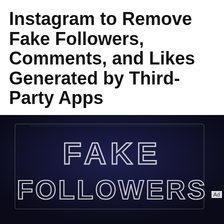Instagram to Remove Fake Followers, Comments, and Likes Generated by Third-Party Apps
SEJ STAFF
Matt G. Southern
November 19, 2018
2 min read
1.0K SHARES  5.1K READS
[Figure (photo): Dark background image with chalk handwriting reading 'FAKE FOLLOWERS']